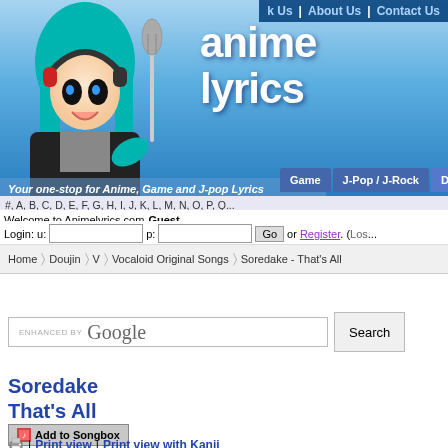[Figure (screenshot): Anime Lyrics website header with anime character (teal-haired girl with headphones) and site logo 'anime lyrics', navigation links 'k Us', 'About Us', 'Contact Us', category tabs 'Game', 'J-Pop / J-Rock', and tagline 'Your one-stop for Anime, Game and J-pop Lyrics']
#, A, B, C, D, E, F, G, H, I, J, K, L, M, N, O, P, ...
Welcome to Animelyrics.com Guest.
Login: u:  p:  Go  or Register. (Los...
Home › Doujin › V › Vocaloid Original Songs › Soredake - That's All
[Figure (screenshot): Google Search bar with 'ENHANCED BY Google' text and a Search button]
Soredake
That's All
Add to Songbox
| Print view | Print view with Kanji